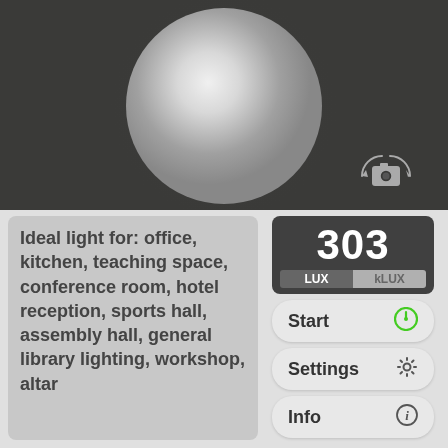[Figure (illustration): Dark background panel showing a large glowing white sphere (light bulb visualization) centered in the upper portion, with a camera/rotate icon in the bottom-right corner of the panel]
Ideal light for: office, kitchen, teaching space, conference room, hotel reception, sports hall, assembly hall, general library lighting, workshop, altar
[Figure (other): Digital lux meter readout showing '303' in large white text on dark background, with LUX selected tab and kLUX tab]
Start
Settings
Info